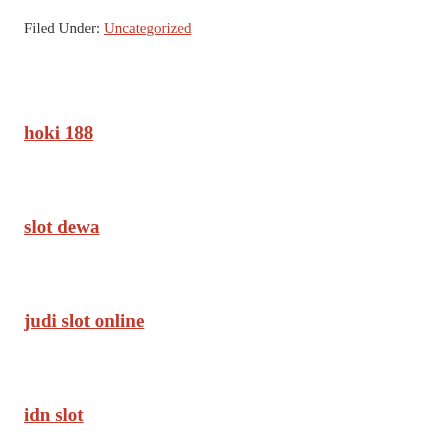Filed Under: Uncategorized
hoki 188
slot dewa
judi slot online
idn slot